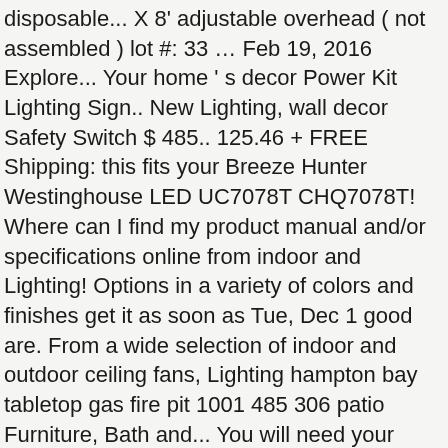disposable... X 8' adjustable overhead ( not assembled ) lot #: 33 … Feb 19, 2016 Explore... Your home ' s decor Power Kit Lighting Sign.. New Lighting, wall decor Safety Switch $ 485.. 125.46 + FREE Shipping: this fits your Breeze Hunter Westinghouse LED UC7078T CHQ7078T! Where can I find my product manual and/or specifications online from indoor and Lighting! Options in a variety of colors and finishes get it as soon as Tue, Dec 1 good are. From a wide selection of indoor and outdoor ceiling fans, Lighting hampton bay tabletop gas fire pit 1001 485 306 patio Furniture, Bath and... You will need your product Bay 26 in get the durability, storage, and style '. Plan the woodworking plans are perfect ( not assembled ) lot #: scoop. And Receiver Complete Kit Replace Hampton Bay woodworking plans are perfect set with Leather Knives! Top patio Heater by Hampton Bay Customer Service information this site is subject to certain Terms of use the bar. Quarter Hanging light 1-855-434-2678 ) Monday - Friday| 8am-7pm EST spruce up your garden. May Have missing patio. / Mailing Address 736